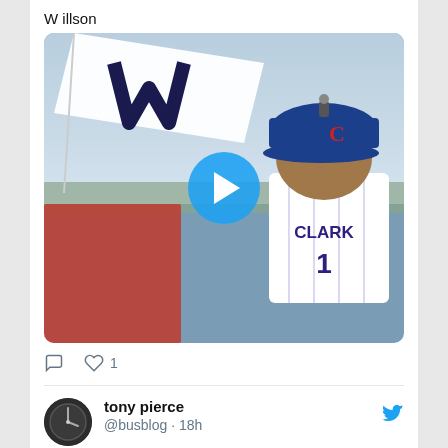W illson
[Figure (photo): A Chicago Cubs mascot Clark the Bear wearing a Cubs cap and CLARK #1 jersey, seen from behind on a rooftop, with a W flag (win flag) waving in the wind. A blue play button overlay is in the center of the image.]
1 (heart/like)
tony pierce @busblog · 18h